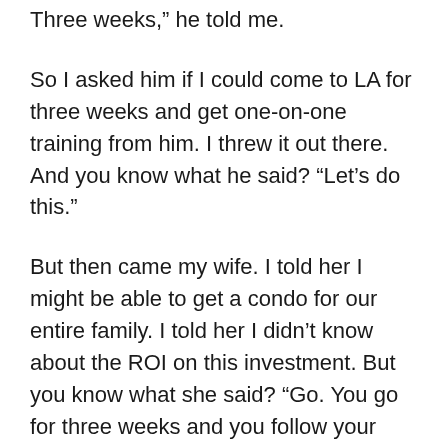Three weeks,” he told me.
So I asked him if I could come to LA for three weeks and get one-on-one training from him. I threw it out there. And you know what he said? “Let’s do this.”
But then came my wife. I told her I might be able to get a condo for our entire family. I told her I didn’t know about the ROI on this investment. But you know what she said? “Go. You go for three weeks and you follow your heart.”
I don’t know what this trip will be. But I want my kids to know dad sings. I need this piece